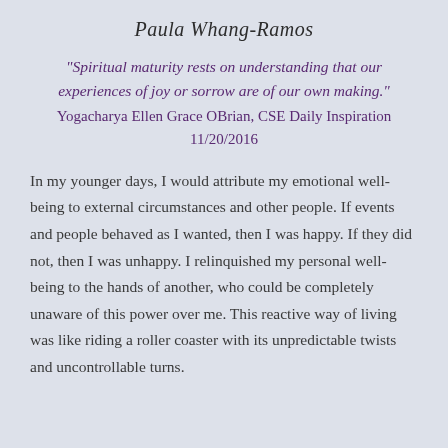Paula Whang-Ramos
"Spiritual maturity rests on understanding that our experiences of joy or sorrow are of our own making." Yogacharya Ellen Grace OBrian, CSE Daily Inspiration 11/20/2016
In my younger days, I would attribute my emotional well-being to external circumstances and other people. If events and people behaved as I wanted, then I was happy. If they did not, then I was unhappy. I relinquished my personal well-being to the hands of another, who could be completely unaware of this power over me. This reactive way of living was like riding a roller coaster with its unpredictable twists and uncontrollable turns.